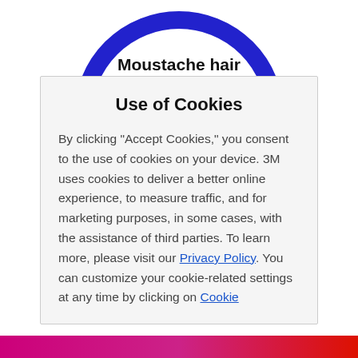[Figure (logo): Circular blue ring logo with 'Moustache hair' text inside, partially cropped at top of page]
Use of Cookies
By clicking "Accept Cookies," you consent to the use of cookies on your device. 3M uses cookies to deliver a better online experience, to measure traffic, and for marketing purposes, in some cases, with the assistance of third parties. To learn more, please visit our Privacy Policy. You can customize your cookie-related settings at any time by clicking on Cookie
[Figure (illustration): Horizontal gradient bar at bottom of page, transitioning from magenta/pink on the left to red on the right]